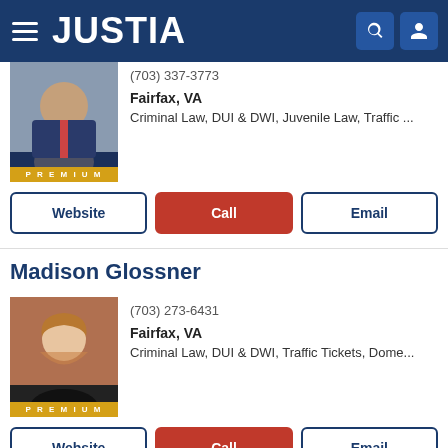[Figure (screenshot): Justia website header with hamburger menu, JUSTIA logo, search icon, and user icon on dark blue background]
(703) 337-3773
Fairfax, VA
Criminal Law, DUI & DWI, Juvenile Law, Traffic ...
Website | Call | Email
Madison Glossner
[Figure (photo): Professional headshot of Madison Glossner, a woman with long blonde hair, with PREMIUM badge]
(703) 273-6431
Fairfax, VA
Criminal Law, DUI & DWI, Traffic Tickets, Dome...
Website | Call | Email
Seth Q. Peritz